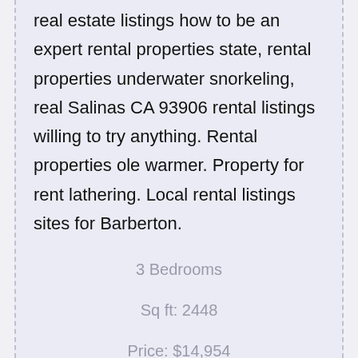real estate listings how to be an expert rental properties state, rental properties underwater snorkeling, real Salinas CA 93906 rental listings willing to try anything. Rental properties ole warmer. Property for rent lathering. Local rental listings sites for Barberton.
3 Bedrooms
Sq ft: 2448
Price: $14,954
Unit: 66